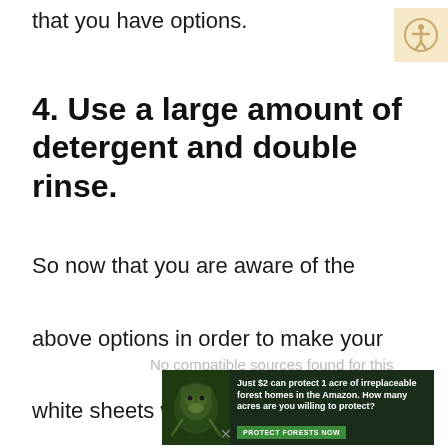that you have options.
4. Use a large amount of detergent and double rinse.
So now that you are aware of the above options in order to make your white sheets white again, it is
No compatible sources found for this
[Figure (infographic): Advertisement banner for Amazon forest protection. Dark green background with sloth image on left, text reads: Just $2 can protect 1 acre of irreplaceable forest homes in the Amazon. How many acres are you willing to protect? Green button: PROTECT FORESTS NOW]